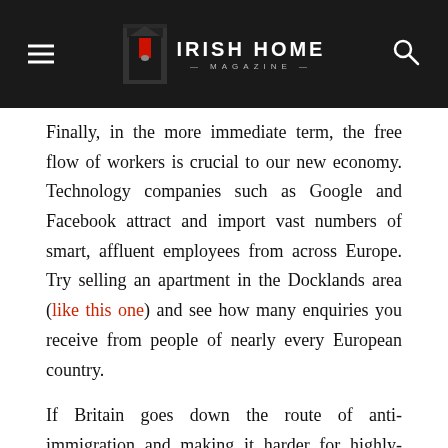Irish Home Magazine
Finally, in the more immediate term, the free flow of workers is crucial to our new economy. Technology companies such as Google and Facebook attract and import vast numbers of smart, affluent employees from across Europe. Try selling an apartment in the Docklands area (like this one) and see how many enquiries you receive from people of nearly every European country.
If Britain goes down the route of anti-immigration and making it harder for highly-skilled workers in technology, banking and science to travel and work in the UK, then Ireland will happily reap the rewards.
I pray for my homeland, but also that we can weather this storm and continue to grow as a county in the